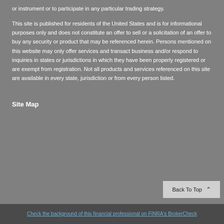or instrument or to participate in any particular trading strategy. This site is published for residents of the United States and is for informational purposes only and does not constitute an offer to sell or a solicitation of an offer to buy any security or product that may be referenced herein. Persons mentioned on this website may only offer services and transact business and/or respond to inquiries in states or jurisdictions in which they have been properly registered or are exempt from registration. Not all products and services referenced on this site are available in every state, jurisdiction or from every person listed.
Site Map
Check the background of this financial professional on FINRA's BrokerCheck